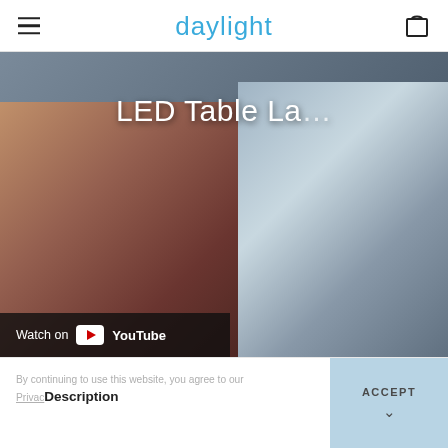daylight
[Figure (screenshot): Video thumbnail showing a woman looking down, with text 'LED Table La...' overlaid in white, and a 'Watch on YouTube' bar at the bottom left of the video.]
By continuing to use this website, you agree to our Privacy Policy
Description